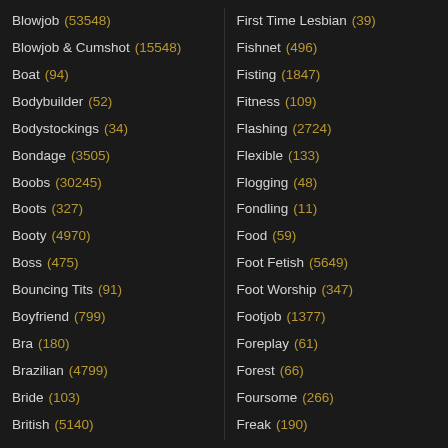Blowjob (53548)
Blowjob & Cumshot (15548)
Boat (94)
Bodybuilder (52)
Bodystockings (34)
Bondage (3505)
Boobs (30245)
Boots (327)
Booty (4970)
Boss (475)
Bouncing Tits (91)
Boyfriend (799)
Bra (180)
Brazilian (4799)
Bride (103)
British (5140)
First Time Lesbian (39)
Fishnet (496)
Fisting (1847)
Fitness (109)
Flashing (2724)
Flexible (133)
Flogging (48)
Fondling (11)
Food (59)
Foot Fetish (5649)
Foot Worship (347)
Footjob (1377)
Foreplay (61)
Forest (66)
Foursome (266)
Freak (190)